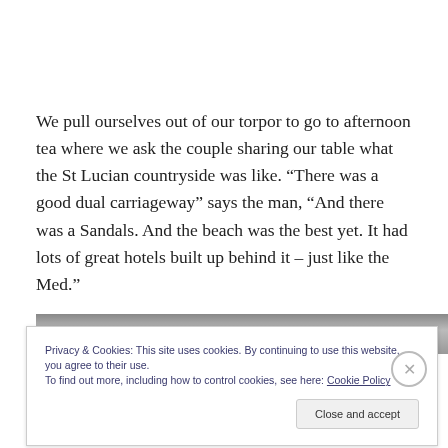We pull ourselves out of our torpor to go to afternoon tea where we ask the couple sharing our table what the St Lucian countryside was like. “There was a good dual carriageway” says the man, “And there was a Sandals. And the beach was the best yet. It had lots of great hotels built up behind it – just like the Med.”
[Figure (photo): Partial view of a photo, partially obscured by cookie consent banner]
Privacy & Cookies: This site uses cookies. By continuing to use this website, you agree to their use.
To find out more, including how to control cookies, see here: Cookie Policy
Close and accept